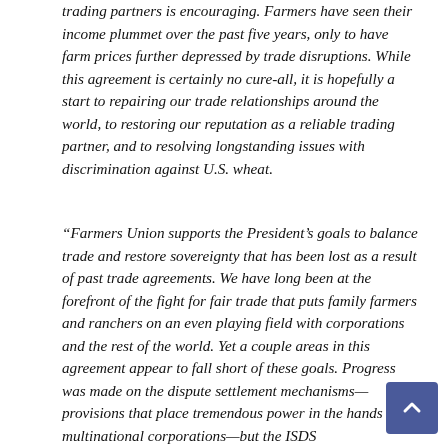trading partners is encouraging. Farmers have seen their income plummet over the past five years, only to have farm prices further depressed by trade disruptions. While this agreement is certainly no cure-all, it is hopefully a start to repairing our trade relationships around the world, to restoring our reputation as a reliable trading partner, and to resolving longstanding issues with discrimination against U.S. wheat.
“Farmers Union supports the President’s goals to balance trade and restore sovereignty that has been lost as a result of past trade agreements. We have long been at the forefront of the fight for fair trade that puts family farmers and ranchers on an even playing field with corporations and the rest of the world. Yet a couple areas in this agreement appear to fall short of these goals. Progress was made on the dispute settlement mechanisms—provisions that place tremendous power in the hands of multinational corporations—but the ISDS